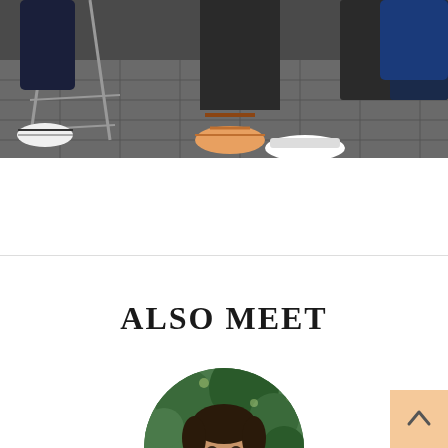[Figure (photo): Top portion of a photo showing people sitting on chairs outdoors on a tiled floor, visible are legs, feet, and shoes; one person wearing sandals, another in white sneakers. Metal chair legs visible. Dark clothing.]
ALSO MEET
[Figure (photo): Circular cropped portrait photo of a person with trees/greenery visible in the background.]